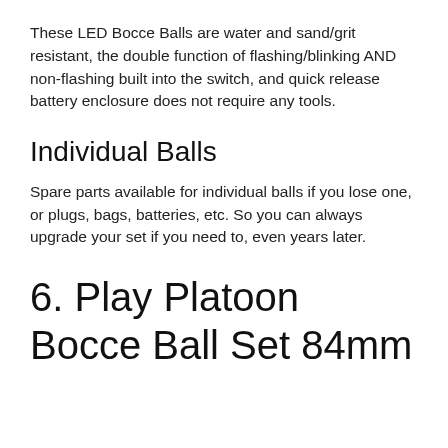These LED Bocce Balls are water and sand/grit resistant, the double function of flashing/blinking AND non-flashing built into the switch, and quick release battery enclosure does not require any tools.
Individual Balls
Spare parts available for individual balls if you lose one, or plugs, bags, batteries, etc. So you can always upgrade your set if you need to, even years later.
6. Play Platoon Bocce Ball Set 84mm